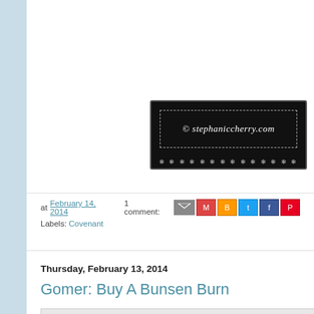[Figure (logo): Black background watermark image with dashed border reading '© stephaniccherry.com' in italic white script, with decorative snowflake row at bottom]
at February 14, 2014   1 comment:
Labels: Covenant
Thursday, February 13, 2014
Gomer: Buy A Bunsen Burn